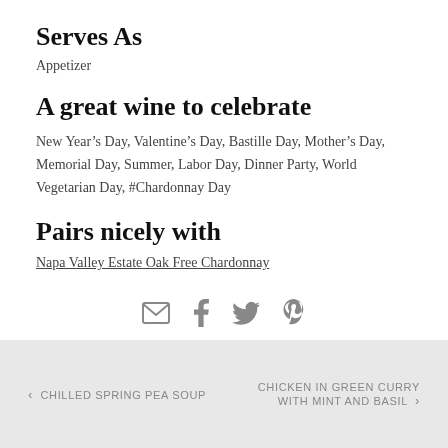Serves As
Appetizer
A great wine to celebrate
New Year's Day, Valentine's Day, Bastille Day, Mother's Day, Memorial Day, Summer, Labor Day, Dinner Party, World Vegetarian Day, #Chardonnay Day
Pairs nicely with
Napa Valley Estate Oak Free Chardonnay
[Figure (infographic): Social sharing icons: email (envelope), Facebook (f), Twitter (bird), Pinterest (p)]
‹ CHILLED SPRING PEA SOUP   CHICKEN IN GREEN CURRY WITH MINT AND BASIL ›